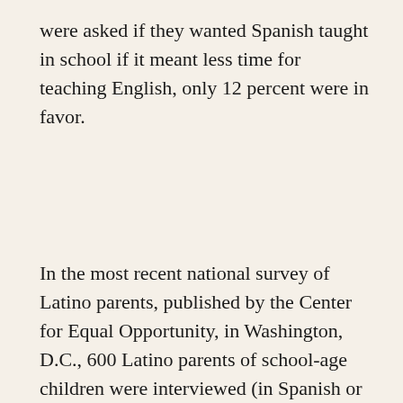were asked if they wanted Spanish taught in school if it meant less time for teaching English, only 12 percent were in favor.
In the most recent national survey of Latino parents, published by the Center for Equal Opportunity, in Washington, D.C., 600 Latino parents of school-age children were interviewed (in Spanish or English) in four U.S. cities. He...